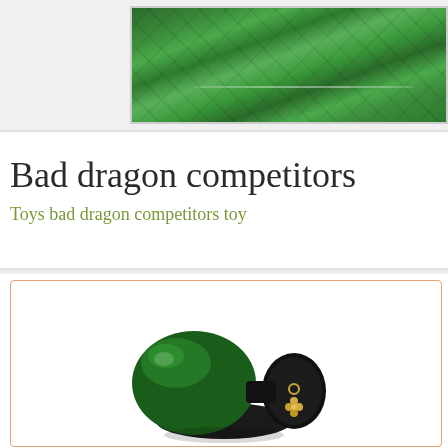[Figure (photo): Aerial photograph of green terraced tea fields or agricultural fields, viewed from above, showing a patchwork of green plots.]
Bad dragon competitors
Toys bad dragon competitors toy
[Figure (photo): A green and black adult toy (plug shape) with a gold decorative charm, photographed against a white background inside a card with an orange border.]